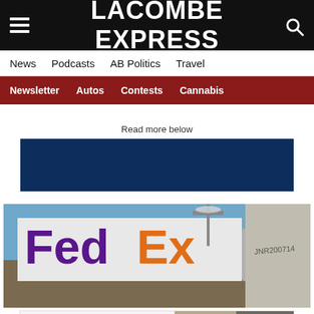LACOMBE EXPRESS
News  Podcasts  AB Politics  Travel
Newsletter  Autos  Contests  Cannabis
Read more below
[Figure (photo): Dark blue advertisement banner placeholder]
[Figure (photo): FedEx truck with large FedEx logo visible, parked near a building under a blue sky with street light in background. Graffiti reading JNR200714 visible on building.]
[Figure (photo): Sims Furniture advertisement showing logo on left and people sitting on couch on right, with text overlay reading Bremner Street, Red Deer]